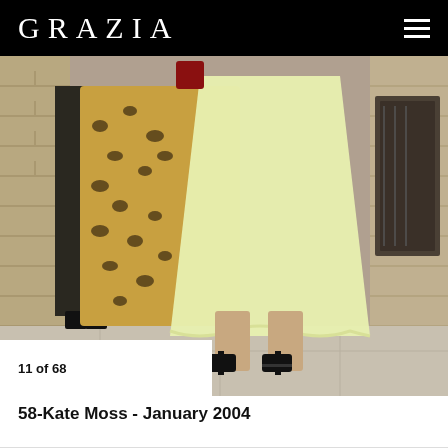GRAZIA
[Figure (photo): Street style photo of Kate Moss in January 2004, wearing a pale yellow/lime dress and leopard print coat, with black strappy heels, photographed outdoors against a brick wall backdrop]
11 of 68
58-Kate Moss - January 2004